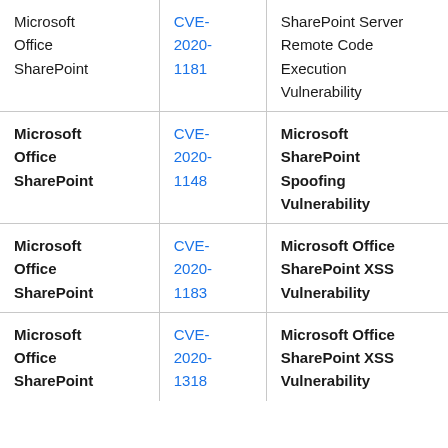| Microsoft Office SharePoint | CVE-2020-1181 | SharePoint Server Remote Code Execution Vulnerability |
| Microsoft Office SharePoint | CVE-2020-1148 | Microsoft SharePoint Spoofing Vulnerability |
| Microsoft Office SharePoint | CVE-2020-1183 | Microsoft Office SharePoint XSS Vulnerability |
| Microsoft Office SharePoint | CVE-2020-1318 | Microsoft Office SharePoint XSS Vulnerability |